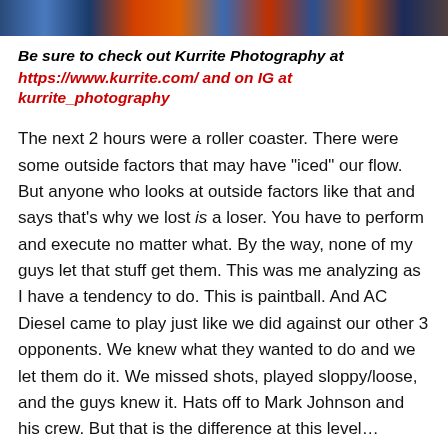[Figure (photo): Colorful photo strip showing paintball players in action at the top of the page]
Be sure to check out Kurrite Photography at https://www.kurrite.com/ and on IG at kurrite_photography
The next 2 hours were a roller coaster. There were some outside factors that may have “iced” our flow. But anyone who looks at outside factors like that and says that’s why we lost is a loser. You have to perform and execute no matter what. By the way, none of my guys let that stuff get them. This was me analyzing as I have a tendency to do. This is paintball. And AC Diesel came to play just like we did against our other 3 opponents. We knew what they wanted to do and we let them do it. We missed shots, played sloppy/loose, and the guys knew it. Hats off to Mark Johnson and his crew. But that is the difference at this level… consistency is key. I remember shaking hands with Diesel and saying to them, “Thank you for the education. Thank you for the lesson.” And I genuinely